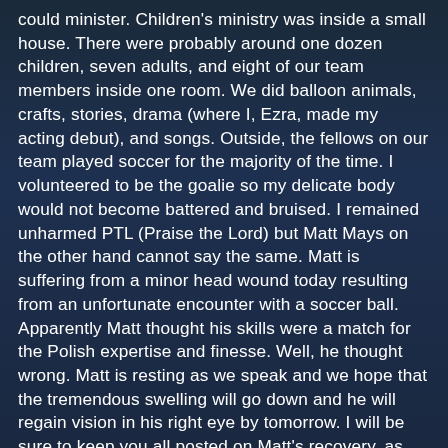could minister. Children's ministry was inside a small house. There were probably around one dozen children, seven adults, and eight of our team members inside one room. We did balloon animals, crafts, stories, drama (where I, Ezra, made my acting debut), and songs. Outside, the fellows on our team played soccer for the majority of the time. I volunteered to be the goalie so my delicate body would not become battered and bruised. I remained unharmed PTL (Praise the Lord) but Matt Mays on the other hand cannot say the same. Matt is suffering from a minor head wound today resulting from an unfortunate encounter with a soccer ball. Apparently Matt thought his skills were a match for the Polish expertise and finesse. Well, he thought wrong. Matt is resting as we speak and we hope that the tremendous swelling will go down and he will regain vision in his right eye by tomorrow. I will be sure to keep you all posted on Matt's recovery, as the swelling incrementally recedes. Today was a remarkable day and we are all certainly looking forward to what tomorrow's day will bring.
Signing off from Poland until tomorrow,
Ezra's replacements and still reigning pingpong champions,